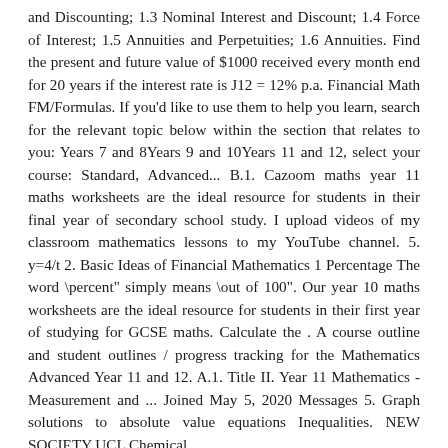and Discounting; 1.3 Nominal Interest and Discount; 1.4 Force of Interest; 1.5 Annuities and Perpetuities; 1.6 Annuities. Find the present and future value of $1000 received every month end for 20 years if the interest rate is J12 = 12% p.a. Financial Math FM/Formulas. If you'd like to use them to help you learn, search for the relevant topic below within the section that relates to you: Years 7 and 8Years 9 and 10Years 11 and 12, select your course: Standard, Advanced... B.1. Cazoom maths year 11 maths worksheets are the ideal resource for students in their final year of secondary school study. I upload videos of my classroom mathematics lessons to my YouTube channel. 5. y=4/t 2. Basic Ideas of Financial Mathematics 1 Percentage The word \percent" simply means \out of 100". Our year 10 maths worksheets are the ideal resource for students in their first year of studying for GCSE maths. Calculate the . A course outline and student outlines / progress tracking for the Mathematics Advanced Year 11 and 12. A.1. Title II. Year 11 Mathematics - Measurement and ... Joined May 5, 2020 Messages 5. Graph solutions to absolute value equations Inequalities. NEW SOCIETY UCL Chemical